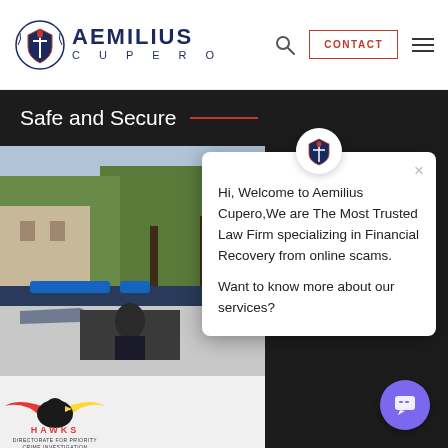[Figure (logo): Aemilius Cupero law firm logo with shield emblem and text]
AEMILIUS CUPERO — navigation header with CONTACT button, search icon, and hamburger menu
Safe and Secure
[Figure (photo): Police cars with blue lights and Hawks Directorate for Priority Crime Investigation logo on vehicle]
Hi, Welcome to Aemilius Cupero,We are The Most Trusted Law Firm specializing in Financial Recovery from online scams. Want to know more about our services?